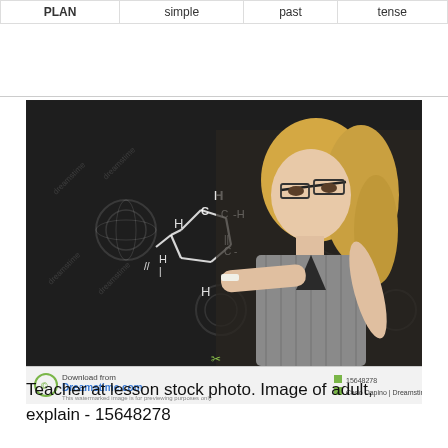| PLAN | simple | past | tense |
| --- | --- | --- | --- |
[Figure (photo): A blonde female teacher wearing glasses pointing at a chemical structure drawn in chalk on a blackboard, with Dreamstime watermark overlay. The blackboard shows what appears to be a cyclopentadiene or similar organic chemical structure with H and C labels. The photo has a Dreamstime.com download banner at the bottom.]
Teacher at lesson stock photo. Image of adult, explain - 15648278